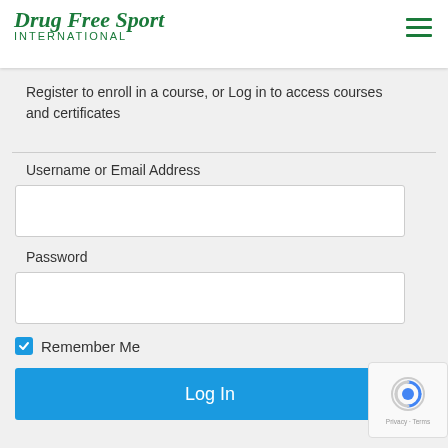Drug Free Sport INTERNATIONAL
Course Login
Register to enroll in a course, or Log in to access courses and certificates
Username or Email Address
Password
Remember Me
Log In